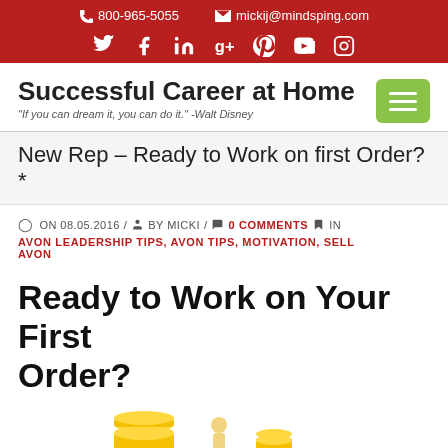800-965-5055  mickij@mindsping.com
Successful Career at Home
"If you can dream it, you can do it." -Walt Disney
New Rep – Ready to Work on first Order?*
ON 08.05.2016 / BY MICKI / 0 COMMENTS IN
AVON LEADERSHIP TIPS, AVON TIPS, MOTIVATION, SELL AVON
Ready to Work on Your First Order?
[Figure (illustration): Coins/money illustration at bottom of page]